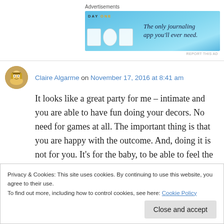Advertisements
[Figure (other): DAY ONE app advertisement banner - light blue background with app icons and text 'The only journaling app you'll ever need.']
REPORT THIS AD
Claire Algarme on November 17, 2016 at 8:41 am
It looks like a great party for me – intimate and you are able to have fun doing your decors. No need for games at all. The important thing is that you are happy with the outcome. And, doing it is not for you. It's for the baby, to be able to feel the
Privacy & Cookies: This site uses cookies. By continuing to use this website, you agree to their use.
To find out more, including how to control cookies, see here: Cookie Policy